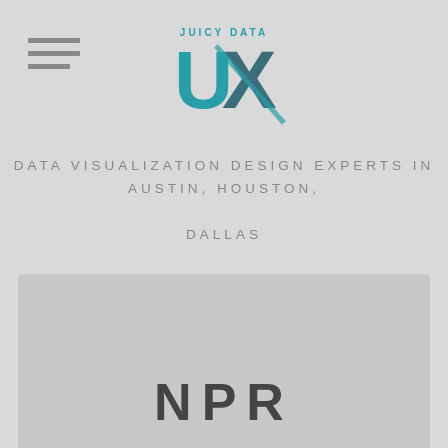[Figure (logo): Juicy Data UX logo with teal UX lettering and small text above reading JUICY DATA]
DATA VISUALIZATION DESIGN EXPERTS IN AUSTIN, HOUSTON, DALLAS
[Figure (infographic): Row of social media icons: Facebook, YouTube, Twitter, Google+, Instagram, Pinterest, LinkedIn]
NPR